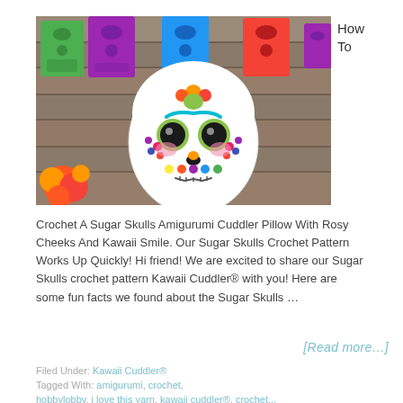[Figure (photo): A crocheted sugar skull amigurumi cuddler pillow with colorful decorations including rosy cheeks, kawaii smile, and floral eyes, displayed on a wooden background with colorful papel picado banners and orange marigold flowers.]
How To
Crochet A Sugar Skulls Amigurumi Cuddler Pillow With Rosy Cheeks And Kawaii Smile. Our Sugar Skulls Crochet Pattern Works Up Quickly! Hi friend! We are excited to share our Sugar Skulls crochet pattern Kawaii Cuddler® with you! Here are some fun facts we found about the Sugar Skulls …
[Read more...]
Filed Under: Kawaii Cuddler®
Tagged With: amigurumi, crochet,
hobbylobby, i love this yarn, kawaii cuddler®, crochet...